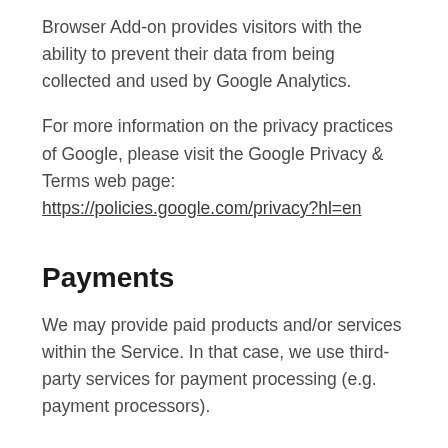Browser Add-on provides visitors with the ability to prevent their data from being collected and used by Google Analytics.
For more information on the privacy practices of Google, please visit the Google Privacy & Terms web page: https://policies.google.com/privacy?hl=en
Payments
We may provide paid products and/or services within the Service. In that case, we use third-party services for payment processing (e.g. payment processors).